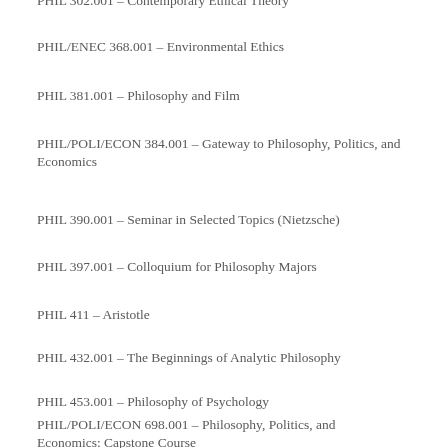PHIL 302.001 – Contemporary Ethical Theory
PHIL/ENEC 368.001 – Environmental Ethics
PHIL 381.001 – Philosophy and Film
PHIL/POLI/ECON 384.001 – Gateway to Philosophy, Politics, and Economics
PHIL 390.001 – Seminar in Selected Topics (Nietzsche)
PHIL 397.001 – Colloquium for Philosophy Majors
PHIL 411 – Aristotle
PHIL 432.001 – The Beginnings of Analytic Philosophy
PHIL 453.001 – Philosophy of Psychology
PHIL/POLI/ECON 698.001 – Philosophy, Politics, and Economics: Capstone Course